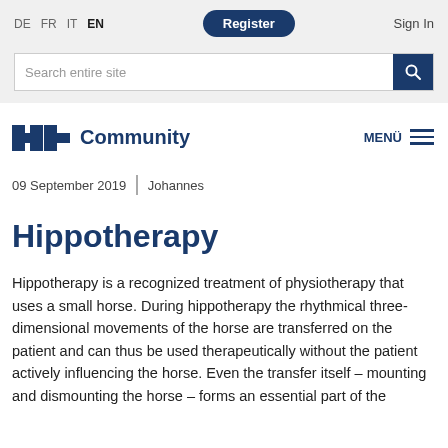DE  FR  IT  EN    Register    Sign In
Search entire site
[Figure (logo): Hplus Community logo: blue cross/plus symbol followed by text 'Community' in bold dark blue]
MENÜ
09 September 2019  |  Johannes
Hippotherapy
Hippotherapy is a recognized treatment of physiotherapy that uses a small horse. During hippotherapy the rhythmical three-dimensional movements of the horse are transferred on the patient and can thus be used therapeutically without the patient actively influencing the horse. Even the transfer itself – mounting and dismounting the horse – forms an essential part of the